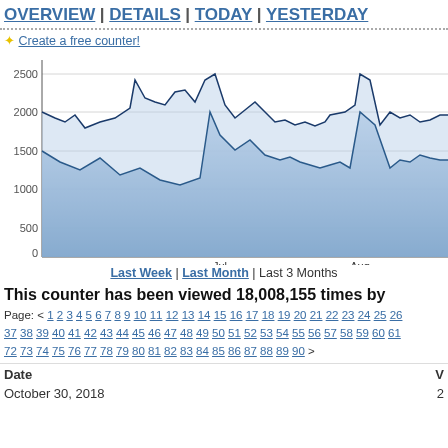OVERVIEW | DETAILS | TODAY | YESTERDAY
✦ Create a free counter!
[Figure (area-chart): Area chart showing two overlapping area series over ~3 months (Jul-Aug visible), values ranging from ~800 to ~2300]
Last Week | Last Month | Last 3 Months
This counter has been viewed 18,008,155 times by
Page: < 1 2 3 4 5 6 7 8 9 10 11 12 13 14 15 16 17 18 19 20 21 22 23 24 25 26 37 38 39 40 41 42 43 44 45 46 47 48 49 50 51 52 53 54 55 56 57 58 59 60 61 72 73 74 75 76 77 78 79 80 81 82 83 84 85 86 87 88 89 90 >
| Date | V |
| --- | --- |
| October 30, 2018 | 2 |